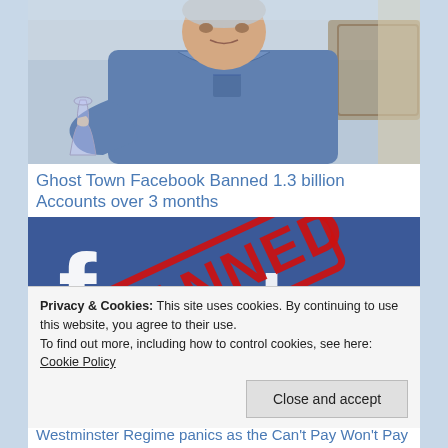[Figure (photo): Elderly man in denim shirt sitting outdoors holding a glass of white wine, sunny setting with wicker furniture]
Ghost Town Facebook Banned 1.3 billion Accounts over 3 months
[Figure (illustration): Facebook logo on blue background with a red diagonal BANNED stamp over it]
Privacy & Cookies: This site uses cookies. By continuing to use this website, you agree to their use.
To find out more, including how to control cookies, see here: Cookie Policy
Close and accept
Westminster Regime panics as the Can't Pay Won't Pay